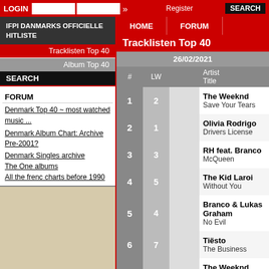LOGIN | Register | SEARCH
IFPI DANMARKS OFFICIELLE HITLISTE
Tracklisten Top 40
Album Top 40
SEARCH
FORUM
Denmark Top 40 ~ most watched music ...
Denmark Album Chart: Archive Pre-2001?
Denmark Singles archive
The One albums
All the frenc charts before 1990
Tracklisten Top 40
| # | LW | Artist / Title |
| --- | --- | --- |
| 1 | 2 | The Weeknd
Save Your Tears |
| 2 | 1 | Olivia Rodrigo
Drivers License |
| 3 | 3 | RH feat. Branco
McQueen |
| 4 | 5 | The Kid Laroi
Without You |
| 5 | 4 | Branco & Lukas Graham
No Evil |
| 6 | 7 | Tiësto
The Business |
| 7 | 6 | The Weeknd
Blinding Lights |
| 8 |  | Artigaardit x Barcelona |